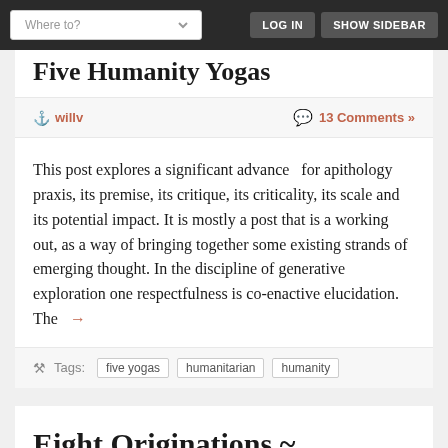Where to? | LOG IN | SHOW SIDEBAR
Five Humanity Yogas
willv | 13 Comments »
This post explores a significant advance  for apithology praxis, its premise, its critique, its criticality, its scale and its potential impact. It is mostly a post that is a working out, as a way of bringing together some existing strands of emerging thought. In the discipline of generative exploration one respectfulness is co-enactive elucidation. The  →
Tags: five yogas | humanitarian | humanity
Eight Originations ~ Humanity Accepting